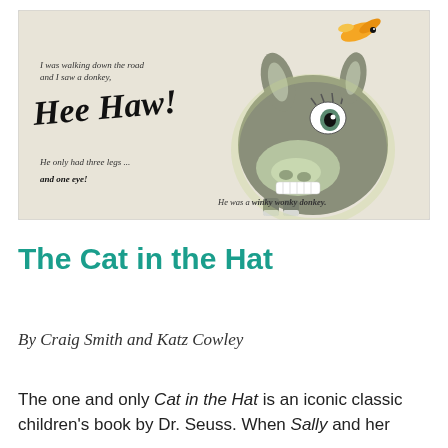[Figure (illustration): Illustration from a children's book showing a cartoon donkey with one eye, text reading 'I was walking down the road and I saw a donkey, Hee Haw! He only had three legs ... and one eye! He was a winky wonky donkey.' with a small bird in the upper right corner.]
The Cat in the Hat
By Craig Smith and Katz Cowley
The one and only Cat in the Hat is an iconic classic children's book by Dr. Seuss. When Sally and her